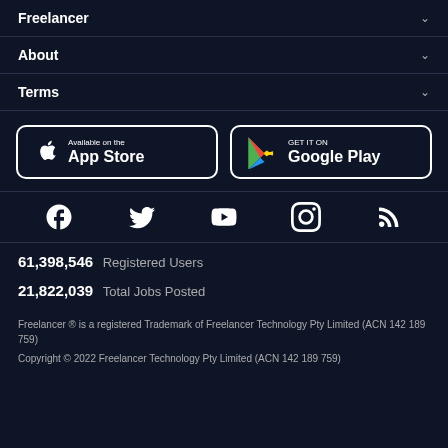Freelancer
About
Terms
[Figure (screenshot): App Store and Google Play download buttons on dark background]
[Figure (infographic): Social media icons: Facebook, Twitter, YouTube, Instagram, RSS]
61,398,546  Registered Users
21,822,039  Total Jobs Posted
Freelancer ® is a registered Trademark of Freelancer Technology Pty Limited (ACN 142 189 759)
Copyright © 2022 Freelancer Technology Pty Limited (ACN 142 189 759)